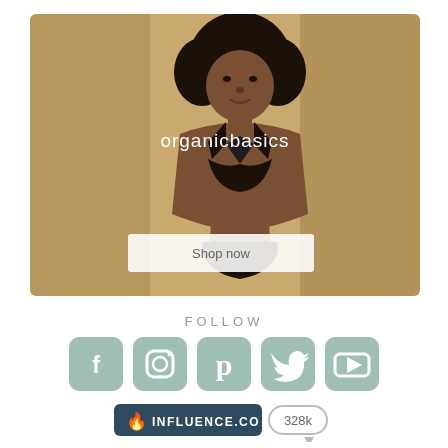[Figure (photo): Advertisement for Organic Basics showing a woman wearing black bralette and underwear against a warm golden/tan background. The brand name 'organicbasics' appears in white text in the center of the image, with a 'Shop now' button below it.]
FOLLOW
[Figure (infographic): Row of five social media icon buttons in sage/muted green color: Facebook (f), Instagram (camera), Pinterest (p), Twitter (bird), YouTube (play button)]
[Figure (logo): Influence.co badge showing flame emoji followed by 'INFLUENCE.CO' in white text on dark blue pill-shaped background, next to a count showing '328k' in a rounded rectangle with an arrow pointer below]